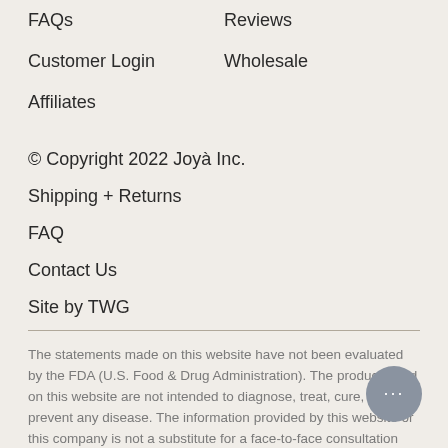FAQs
Reviews
Customer Login
Wholesale
Affiliates
© Copyright 2022 Joyà Inc.
Shipping + Returns
FAQ
Contact Us
Site by TWG
The statements made on this website have not been evaluated by the FDA (U.S. Food & Drug Administration). The products sold on this website are not intended to diagnose, treat, cure, or prevent any disease. The information provided by this website or this company is not a substitute for a face-to-face consultation with your physician, and should not be construed as individual medical advice.